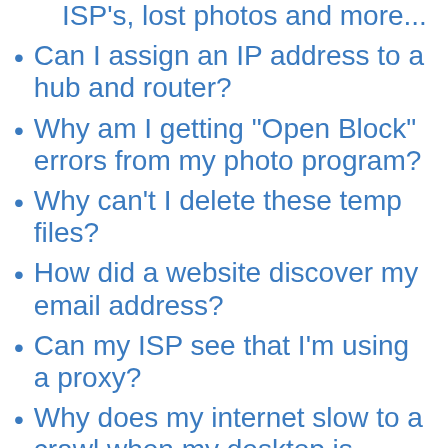ISP's, lost photos and more...
Can I assign an IP address to a hub and router?
Why am I getting "Open Block" errors from my photo program?
Why can't I delete these temp files?
How did a website discover my email address?
Can my ISP see that I'm using a proxy?
Why does my internet slow to a crawl when my desktop is turned on?
Why did my pictures disappear?